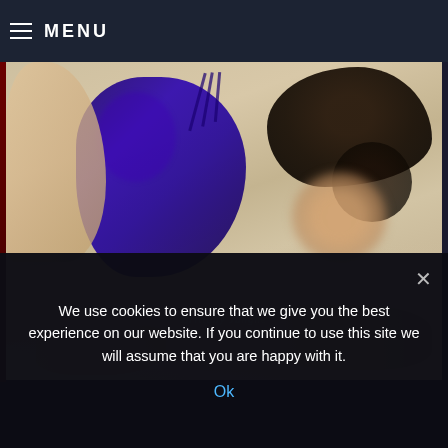≡ MENU
[Figure (photo): A person lying down wearing blue lingerie with dark hair spread out, face blurred, with a watermark reading 'Brittany Junghe'. Photo has warm beige/cream background tones.]
We use cookies to ensure that we give you the best experience on our website. If you continue to use this site we will assume that you are happy with it.
Ok